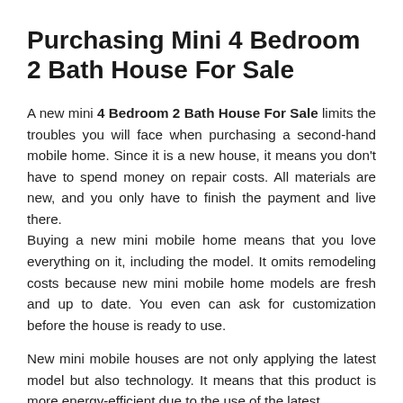Purchasing Mini 4 Bedroom 2 Bath House For Sale
A new mini 4 Bedroom 2 Bath House For Sale limits the troubles you will face when purchasing a second-hand mobile home. Since it is a new house, it means you don't have to spend money on repair costs. All materials are new, and you only have to finish the payment and live there.
Buying a new mini mobile home means that you love everything on it, including the model. It omits remodeling costs because new mini mobile home models are fresh and up to date. You even can ask for customization before the house is ready to use.
New mini mobile houses are not only applying the latest model but also technology. It means that this product is more energy-efficient due to the use of the latest